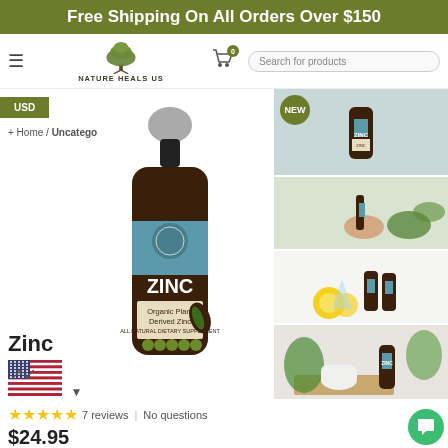Free Shipping On All Orders Over $150
[Figure (logo): Nature Heals Us tree logo with text NATURE HEALS US]
[Figure (screenshot): Navigation bar with hamburger menu, Nature Heals Us logo, cart icon with badge 0, and search box]
USD
Home / Uncatego
[Figure (photo): Zinc dropper bottle - brown amber glass with teal label reading ZINC, Organic Plant Derived Zinc, All Natural Dietary Supplement]
[Figure (photo): Small thumbnail of Zinc bottle with NEW badge]
[Figure (photo): Person holding small dropper bottle with green leaf]
[Figure (photo): Two zinc dropper bottles with lemon and glass on white surface]
[Figure (photo): Zinc dropper bottle with plants and objects on wooden surface]
Zinc
[Figure (illustration): American flag]
7 reviews | No questions
$24.95